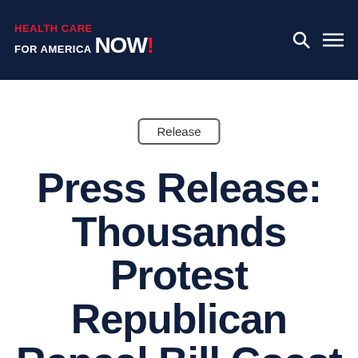HEALTH CARE FOR AMERICA NOW!
Release
Press Release: Thousands Protest Republican Repeal Bill Coast to Coast